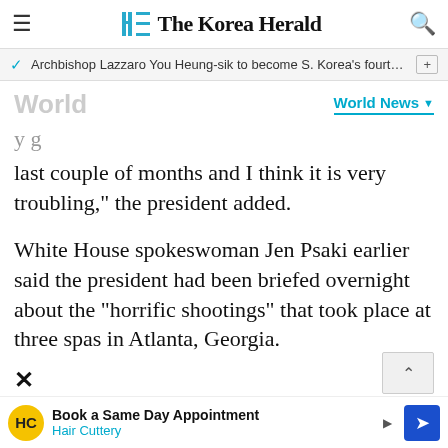The Korea Herald
Archbishop Lazzaro You Heung-sik to become S. Korea's fourth c...
World
last couple of months and I think it is very troubling," the president added.
White House spokeswoman Jen Psaki earlier said the president had been briefed overnight about the "horrific shootings" that took place at three spas in Atlanta, Georgia.
Book a Same Day Appointment
Hair Cuttery